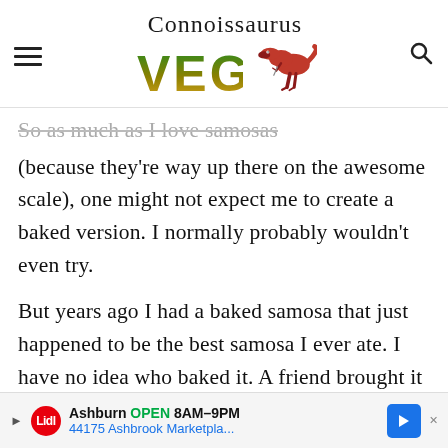Connoissaurus VEG
So as much as I love samosas (because they're way up there on the awesome scale), one might not expect me to create a baked version. I normally probably wouldn't even try.
But years ago I had a baked samosa that just happened to be the best samosa I ever ate. I have no idea who baked it. A friend brought it to me from
[Figure (screenshot): Advertisement banner: Lidl store - Ashburn OPEN 8AM-9PM, 44175 Ashbrook Marketpla... with navigation arrow]